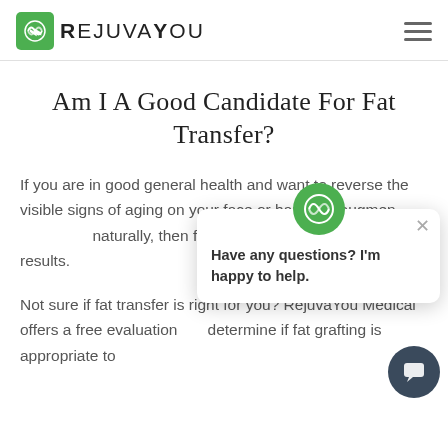RejuvaYou
Am I A Good Candidate For Fat Transfer?
If you are in good general health and want to reverse the visible signs of aging on your face or hands or augmen naturally, then fat t impressive results.
Have any questions? I'm happy to help.
Not sure if fat transfer is right for you? RejuvaYou Medical offers a free evaluation determine if fat grafting is appropriate to